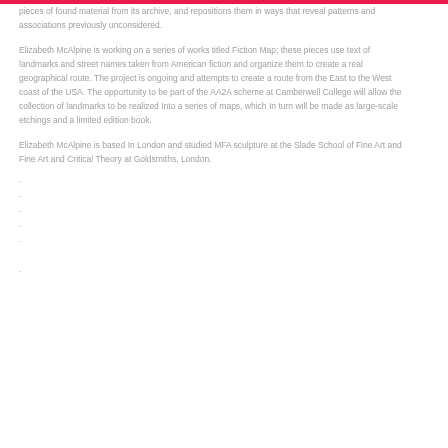pieces of found material from its archive, and repositions them in ways that reveal patterns and associations previously unconsidered.
Elizabeth McAlpine is working on a series of works titled Fiction Map; these pieces use text of landmarks and street names taken from American fiction and organize them to create a real geographical route. The project is ongoing and attempts to create a route from the East to the West coast of the USA. The opportunity to be part of the AA2A scheme at Camberwell College will allow the collection of landmarks to be realized Into a series of maps, which In turn will be made as large-scale etchings and a limited edition book.
Elizabeth McAlpine is based In London and studied MFA sculpture at the Slade School of Fine Art and Fine Art and Critical Theory at Goldsmiths, London.
. . . . . .